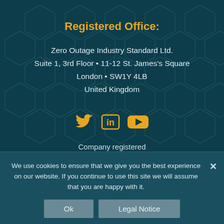Registered Office:
Zero Outage Industry Standard Ltd.
Suite 1, 3rd Floor • 11-12 St. James's Square
London • SW1Y 4LB
United Kingdom
[Figure (infographic): Social media icons: Twitter bird, LinkedIn 'in', YouTube play button, all in amber/orange color]
Company registered
in England and Wales No. 10462181
VAT ID: GB 259 8507 57
We use cookies to ensure that we give you the best experience on our website. If you continue to use this site we will assume that you are happy with it.